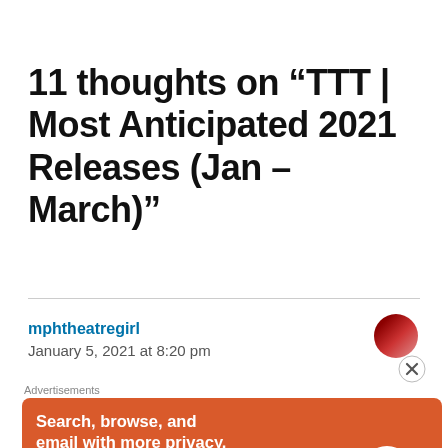11 thoughts on “TTT | Most Anticipated 2021 Releases (Jan – March)”
mphtheatregirl
January 5, 2021 at 8:20 pm
[Figure (other): DuckDuckGo advertisement banner: orange background with white text 'Search, browse, and email with more privacy. All in One Free App' and a phone with DuckDuckGo logo]